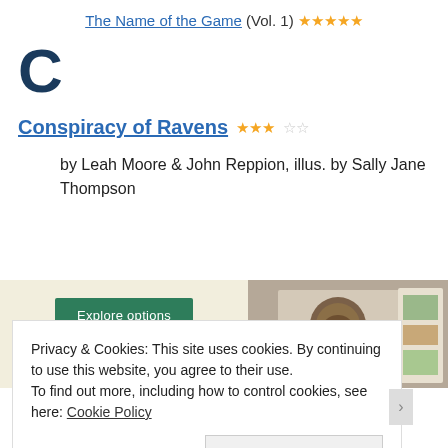The Name of the Game (Vol. 1) ★★★★★
C
Conspiracy of Ravens ★★★☆☆
by Leah Moore & John Reppion, illus. by Sally Jane Thompson
[Figure (screenshot): Advertisement banner with 'Explore options' green button and food imagery on the right]
Privacy & Cookies: This site uses cookies. By continuing to use this website, you agree to their use.
To find out more, including how to control cookies, see here: Cookie Policy
Close and accept